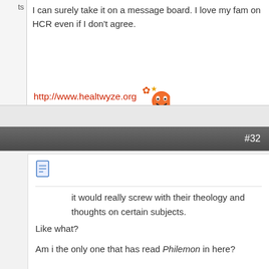I can surely take it on a message board. I love my fam on HCR even if I don't agree.
http://www.healtwyze.org
#32
[Figure (illustration): Document/notepad icon]
it would really screw with their theology and thoughts on certain subjects.
Like what?

Am i the only one that has read Philemon in here?